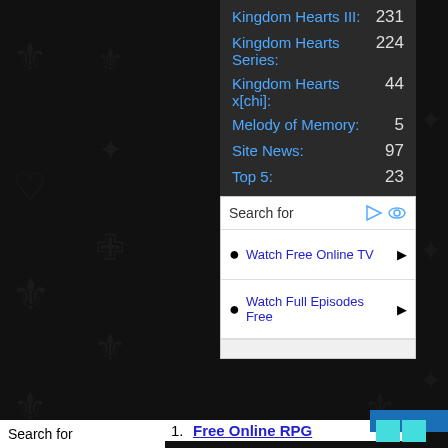Kingdom Hearts III: 231
Kingdom Hearts Series: 224
Kingdom Hearts x[chi]: 44
Melody of Memory: 5
Site News: 97
Top 5: 23
Unchained Key: 261
Search for
Watch Free Online TV
Watch Full Episodes Free
Search for
1. Free Online RPG
2. Watch Free Online TV